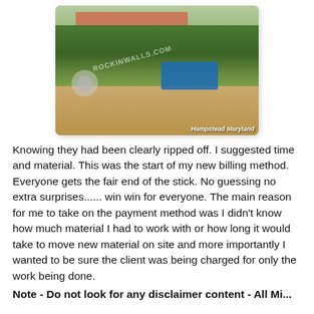[Figure (photo): Outdoor yard/garden area with overgrown vegetation, a building in the background, blue equipment visible, watermark text ROCKINWALLS.COM and location label 'Hampstead Maryland']
Knowing they had been clearly ripped off. I suggested time and material. This was the start of my new billing method. Everyone gets the fair end of the stick. No guessing no extra surprises...... win win for everyone. The main reason for me to take on the payment method was I didn't know how much material I had to work with or how long it would take to move new material on site and more importantly I wanted to be sure the client was being charged for only the work being done.
Note - Do not look for any disclaimer content - All Mi...